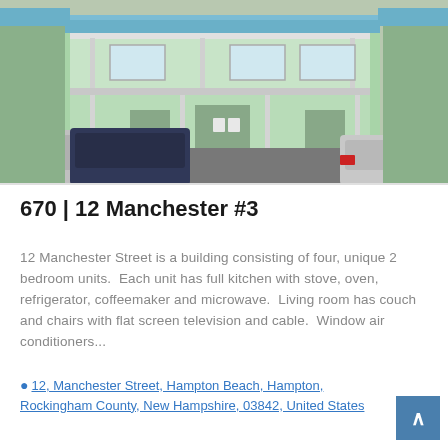[Figure (photo): Exterior photo of a light green/mint colored two-story building at 12 Manchester Street, Hampton Beach. Multiple cars parked in the parking lot in front. The building has a covered porch/balcony with white railings and lattice detail. Chairs visible on the porch.]
670 | 12 Manchester #3
12 Manchester Street is a building consisting of four, unique 2 bedroom units.  Each unit has full kitchen with stove, oven, refrigerator, coffeemaker and microwave.  Living room has couch and chairs with flat screen television and cable.  Window air conditioners...
12, Manchester Street, Hampton Beach, Hampton, Rockingham County, New Hampshire, 03842, United States